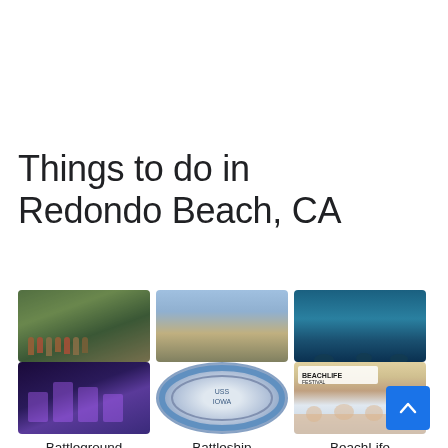Things to do in Redondo Beach, CA
[Figure (photo): AdventurePlex: group of people, outdoor activity]
AdventurePlex
[Figure (photo): Alta Vista Park: aerial/park view with paths]
Alta Vista Park
[Figure (photo): Aquarium of the Pacific: underwater blue scene]
Aquarium of the Pacific
[Figure (photo): Battleground: dark purple indoor gaming space]
Battleground
[Figure (photo): Battleship USS Iowa: circular badge/logo]
Battleship USS Iowa
[Figure (photo): BeachLife Festival: crowd at beach festival with BEACHLIFE FESTIVAL sign]
BeachLife Festival